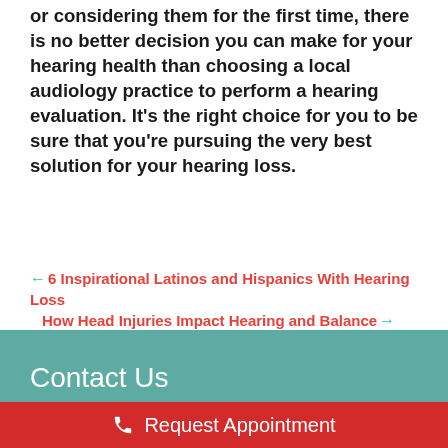or considering them for the first time, there is no better decision you can make for your hearing health than choosing a local audiology practice to perform a hearing evaluation. It’s the right choice for you to be sure that you’re pursuing the very best solution for your hearing loss.
← 6 Inspirational Latinos and Hispanics With Hearing Loss   How Head Injuries Impact Hearing and Balance →
Contact Us
☎ Request Appointment